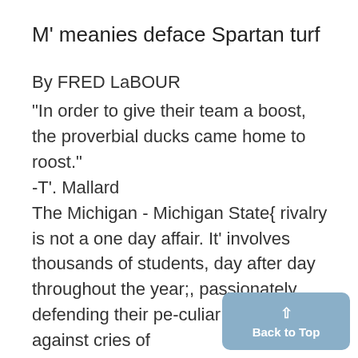M' meanies deface Spartan turf
By FRED LaBOUR
"In order to give their team a boost, the proverbial ducks came home to roost."
-T'. Mallard
The Michigan - Michigan State{ rivalry is not a one day affair. It' involves thousands of students, day after day throughout the year;, passionately defending their pe-culiar alma mater against cries of